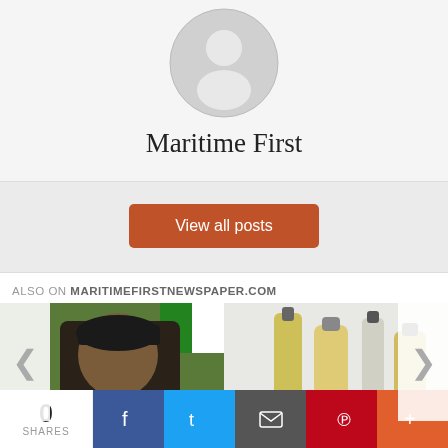[Figure (illustration): Default user avatar placeholder circle with a grey silhouette icon on light grey background]
Maritime First
View all posts
ALSO ON MARITIMEFIRSTNEWSPAPER.COM
[Figure (photo): Photo of a man wearing a black cap, with a Nigerian flag in background, overlaid with text 'rs ago • 1 comment']
[Figure (photo): Photo of glass oil bottles with yellow/olive oil, overlaid with text '3 years ago • 1 comment']
0 SHARES